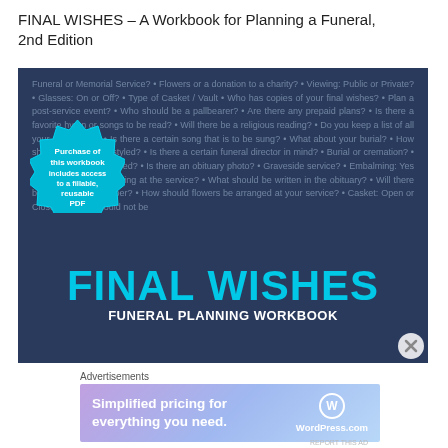FINAL WISHES – A Workbook for Planning a Funeral, 2nd Edition
[Figure (photo): Book cover image for 'Final Wishes – Funeral Planning Workbook' on a dark navy background with repeated questions about funeral planning in light blue text, a teal badge stamp saying 'Purchase of this workbook includes access to a fillable, reusable PDF', and large bold cyan text reading 'FINAL WISHES' with subtitle 'FUNERAL PLANNING WORKBOOK']
Advertisements
[Figure (other): WordPress.com advertisement banner: 'Simplified pricing for everything you need.' with WordPress.com logo]